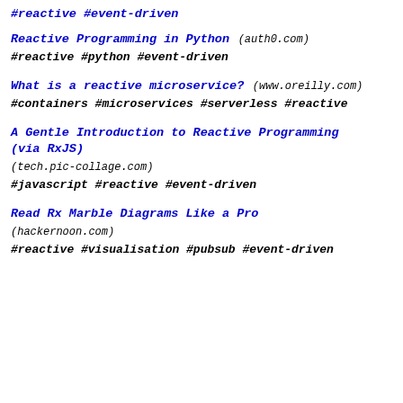#reactive #event-driven
Reactive Programming in Python (auth0.com)
#reactive #python #event-driven
What is a reactive microservice? (www.oreilly.com)
#containers #microservices #serverless #reactive
A Gentle Introduction to Reactive Programming (via RxJS)
(tech.pic-collage.com)
#javascript #reactive #event-driven
Read Rx Marble Diagrams Like a Pro
(hackernoon.com)
#reactive #visualisation #pubsub #event-driven